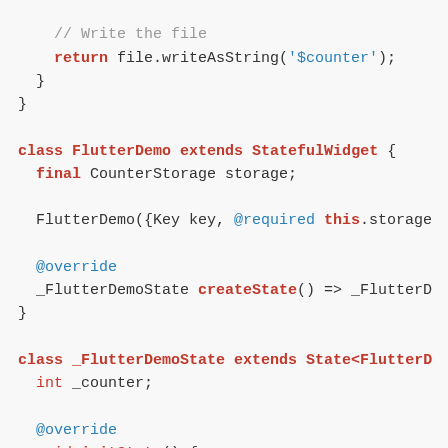[Figure (screenshot): Code snippet showing Flutter Dart source code with syntax highlighting. Shows the end of a writeCounter method and two class definitions: FlutterDemo extending StatefulWidget, and _FlutterDemoState extending State<FlutterDemo>, with initState method.]